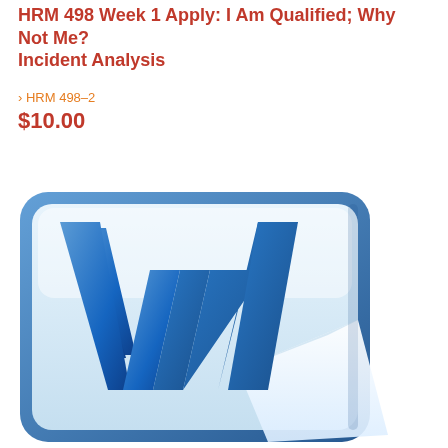HRM 498 Week 1 Apply: I Am Qualified; Why Not Me? Incident Analysis
› HRM 498–2
$10.00
Add to Cart
[Figure (logo): Microsoft Word application icon — blue rounded square with large white 'W' letter logo]